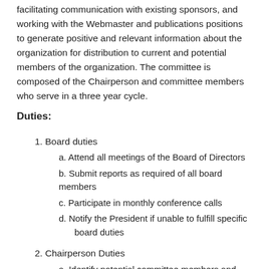facilitating communication with existing sponsors, and working with the Webmaster and publications positions to generate positive and relevant information about the organization for distribution to current and potential members of the organization. The committee is composed of the Chairperson and committee members who serve in a three year cycle.
Duties:
1. Board duties
a. Attend all meetings of the Board of Directors
b. Submit reports as required of all board members
c. Participate in monthly conference calls
d. Notify the President if unable to fulfill specific board duties
2. Chairperson Duties
a. Identify potential committee members and encourage online application for committee membership